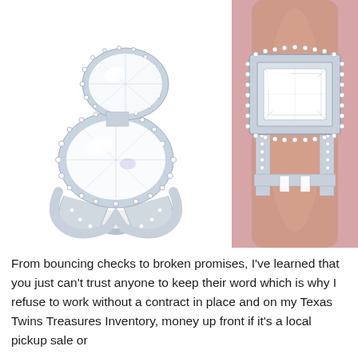[Figure (photo): Two diamond rings shown side by side. Left: a large two-stone oval diamond ring with halo setting on white background. Right: an emerald-cut diamond engagement ring with halo on a finger against a pink background.]
From bouncing checks to broken promises, I've learned that you just can't trust anyone to keep their word which is why I refuse to work without a contract in place and on my Texas Twins Treasures Inventory, money up front if it's a local pickup sale or